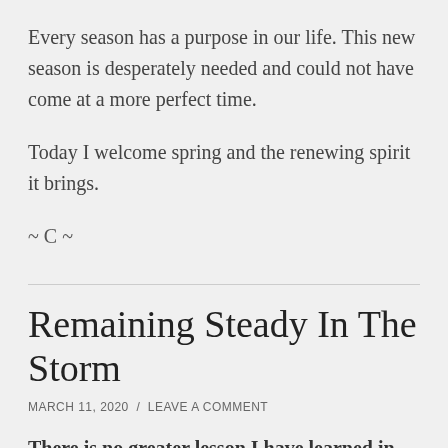Every season has a purpose in our life. This new season is desperately needed and could not have come at a more perfect time.
Today I welcome spring and the renewing spirit it brings.
~ C ~
Remaining Steady In The Storm
MARCH 11, 2020 / LEAVE A COMMENT
There is no greater lesson I have learned in my